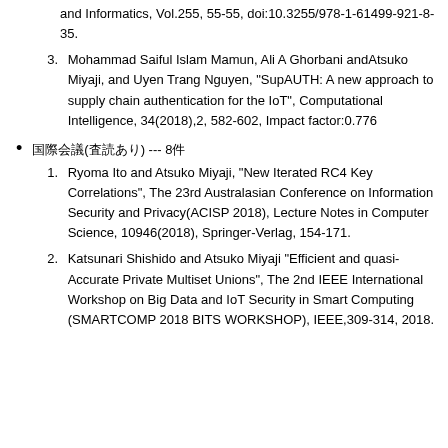and Informatics, Vol.255, 55-55, doi:10.3255/978-1-61499-921-8-35.
Mohammad Saiful Islam Mamun, Ali A Ghorbani andAtsuko Miyaji, and Uyen Trang Nguyen, "SupAUTH: A new approach to supply chain authentication for the IoT", Computational Intelligence, 34(2018),2, 582-602, Impact factor:0.776
国際会議(査読あり) --- 8件
Ryoma Ito and Atsuko Miyaji, "New Iterated RC4 Key Correlations", The 23rd Australasian Conference on Information Security and Privacy(ACISP 2018), Lecture Notes in Computer Science, 10946(2018), Springer-Verlag, 154-171.
Katsunari Shishido and Atsuko Miyaji "Efficient and quasi-Accurate Private Multiset Unions", The 2nd IEEE International Workshop on Big Data and IoT Security in Smart Computing (SMARTCOMP 2018 BITS WORKSHOP), IEEE,309-314, 2018.